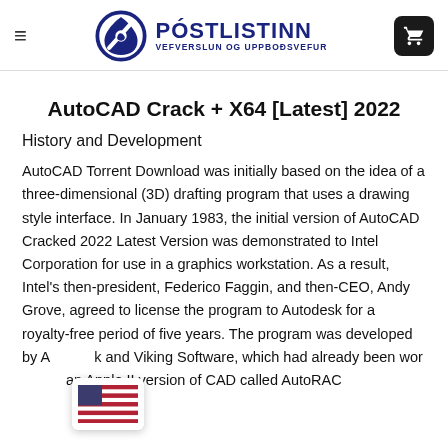≡ PÓSTLISTINN VEFVERSLUN OG UPPBOÐSVEFUR [cart icon]
AutoCAD Crack + X64 [Latest] 2022
History and Development
AutoCAD Torrent Download was initially based on the idea of a three-dimensional (3D) drafting program that uses a drawing style interface. In January 1983, the initial version of AutoCAD Cracked 2022 Latest Version was demonstrated to Intel Corporation for use in a graphics workstation. As a result, Intel's then-president, Federico Faggin, and then-CEO, Andy Grove, agreed to license the program to Autodesk for a royalty-free period of five years. The program was developed by A[flag]k and Viking Software, which had already been wor[flag]an Apple II version of CAD called AutoRAC